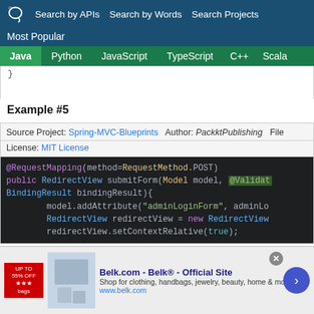Search by APIs  Search by Words  Search Projects  Most Popular
Java  Python  JavaScript  TypeScript  C++  Scala
}
Example #5
Source Project: Spring-MVC-Blueprints  Author: PacktPublishing  File  License: MIT License
@RequestMapping(method=RequestMethod.POST)
public RedirectView submitForm(Model model, @Validat
BindingResult bindingResult){
        model.addAttribute("adminLoginForm", adminLo
        RedirectView redirectView = new RedirectView
        redirectView.setContextRelative(true);
[Figure (screenshot): Advertisement banner for Belk.com - Belk® - Official Site. Shop for clothing, handbags, jewelry, beauty, home & more! www.belk.com]